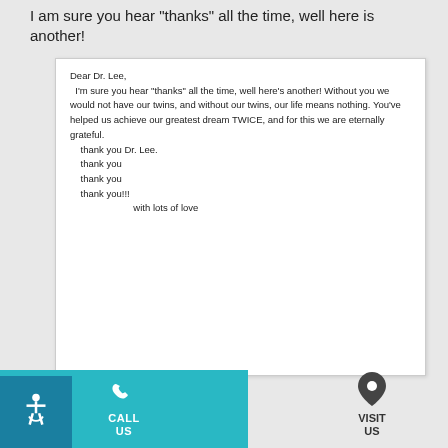I am sure you hear "thanks" all the time, well here is another!
[Figure (photo): Handwritten thank-you letter to Dr. Lee reading: Dear Dr. Lee, I'm sure you hear "thanks" all the time, well here's another! Without you we would not have our twins, and without our twins, our life means nothing. You've helped us achieve our greatest dream TWICE, and for this we are eternally grateful. thank you Dr. Lee. thank you thank you thank you!!! With lots of love]
[Figure (infographic): Teal footer bar with phone icon and CALL US text, accessibility wheelchair icon badge, and location pin icon with VISIT US text]